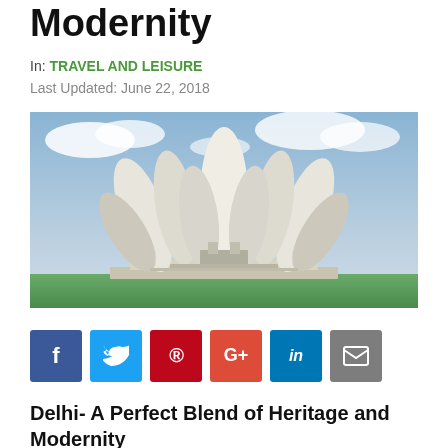Modernity
In: TRAVEL AND LEISURE
Last Updated: June 22, 2018
[Figure (photo): Lotus Temple in New Delhi — a white petal-shaped Bahai House of Worship against a dramatic cloudy sky with green grounds below]
[Figure (infographic): Social media sharing buttons: Facebook (blue), Twitter (light blue), Pinterest (red), Google+ (red-orange), LinkedIn (blue), Email (grey)]
Delhi- A Perfect Blend of Heritage and Modernity
Delhi, capital of the world's largest democracy, is its...